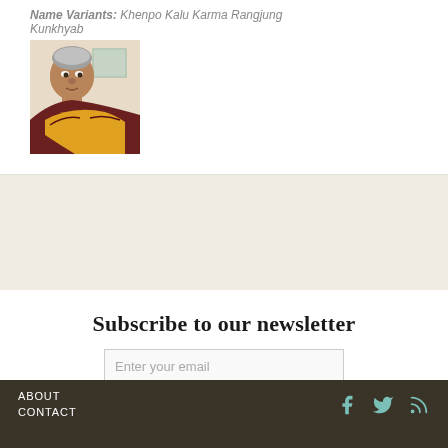Name Variants: Khenpo Kalu Karma Rangjung Kunkhyab
[Figure (photo): Portrait photo of an elderly Tibetan Buddhist monk wearing dark maroon and yellow robes, seated in front of a light-colored wall.]
Subscribe to our newsletter
Enter your email
Subscribe
ABOUT CONTACT
social icons: Facebook, Twitter, RSS